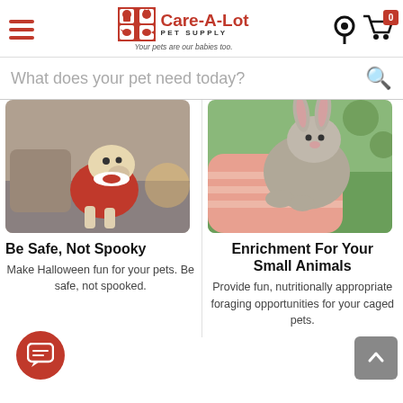Care-A-Lot Pet Supply — Your pets are our babies too!
What does your pet need today?
[Figure (photo): A dog wearing a red Halloween costume sitting on a bed]
Be Safe, Not Spooky
Make Halloween fun for your pets. Be safe, not spooked.
[Figure (photo): A person holding a grey rabbit in their arms]
Enrichment For Your Small Animals
Provide fun, nutritionally appropriate foraging opportunities for your caged pets.